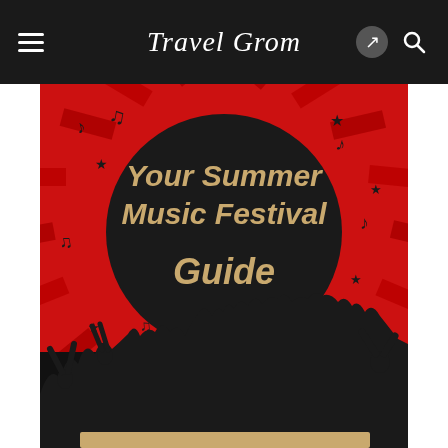TravelGrom
[Figure (illustration): Summer music festival guide poster. Red background with radiating sunburst rays. Large dark circle in center with tan/gold bold text reading 'Your Summer Music Festival Guide'. Black silhouettes of concert crowd with raised hands at bottom. Scattered musical notes and stars throughout. Dark vintage-style illustration.]